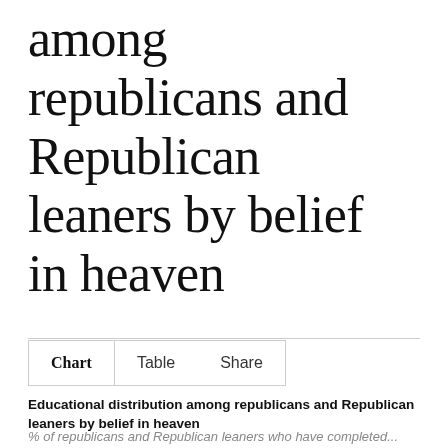among republicans and Republican leaners by belief in heaven
Chart   Table   Share
Educational distribution among republicans and Republican leaners by belief in heaven
% of republicans and Republican leaners who have completed...